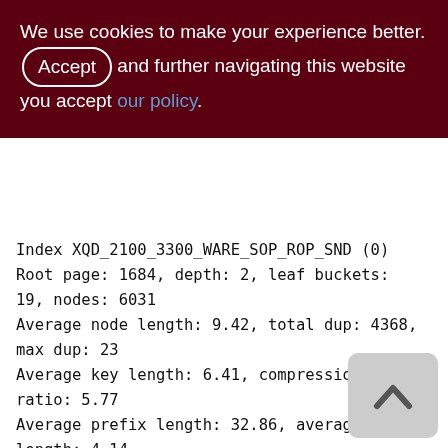We use cookies to make your experience better. By accepting and further navigating this website you accept our policy.
Index XQD_2100_3300_WARE_SOP_ROP_SND (0)
Root page: 1684, depth: 2, leaf buckets: 19, nodes: 6031
Average node length: 9.42, total dup: 4368, max dup: 23
Average key length: 6.41, compression ratio: 5.77
Average prefix length: 32.86, average data length: 4.14
Clustering factor: 1295, ratio: 0.21
Fill distribution:
0 - 19% = 1
20 - 39% = 11